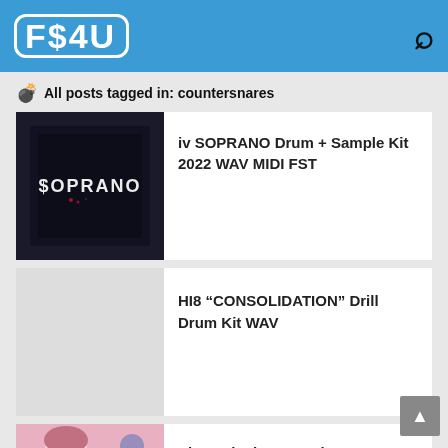F$4U
💣 All posts tagged in: countersnares
[Figure (screenshot): Dark album art with 'SOPRANO' text in gothic white lettering on black background]
iv SOPRANO Drum + Sample Kit 2022 WAV MIDI FST
HI8 “CONSOLIDATION” Drill Drum Kit WAV
[Figure (photo): Partial image visible at bottom — pink/purple illustrated character with microphone]
Sip Leaked Sauce Kit WAV